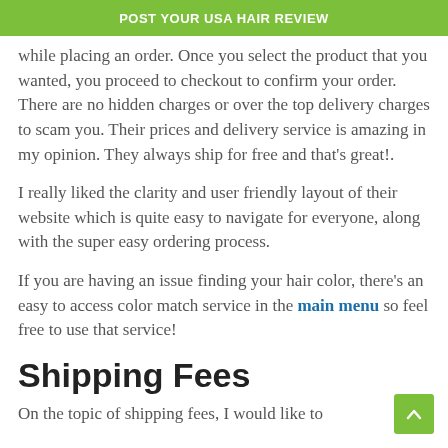POST YOUR USA HAIR REVIEW
while placing an order. Once you select the product that you wanted, you proceed to checkout to confirm your order. There are no hidden charges or over the top delivery charges to scam you. Their prices and delivery service is amazing in my opinion. They always ship for free and that's great!.
I really liked the clarity and user friendly layout of their website which is quite easy to navigate for everyone, along with the super easy ordering process.
If you are having an issue finding your hair color, there's an easy to access color match service in the main menu so feel free to use that service!
Shipping Fees
On the topic of shipping fees, I would like to